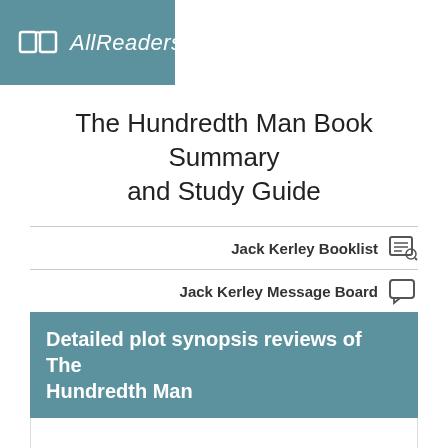AllReaders.com
The Hundredth Man Book Summary and Study Guide
Jack Kerley Booklist
Jack Kerley Message Board
Detailed plot synopsis reviews of The Hundredth Man